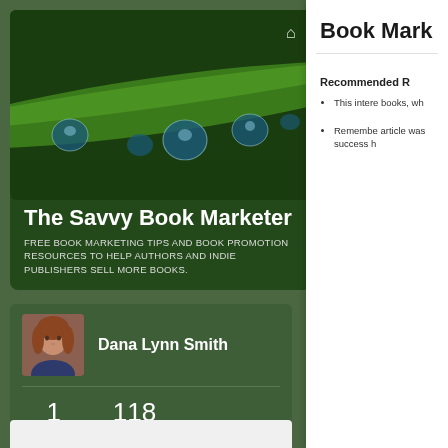[Figure (photo): Close-up photo of a green plant stem with water droplets clinging to it, dark green background]
The Savvy Book Marketer
FREE BOOK MARKETING TIPS AND BOOK PROMOTION RESOURCES TO HELP AUTHORS AND INDIE PUBLISHERS SELL MORE BOOKS.
[Figure (photo): Profile photo of Dana Lynn Smith, a woman with shoulder-length auburn hair]
Dana Lynn Smith
1 FOLLOWING
118 FOLLOWERS
Book Mark
Recommended R
This intere books, wh
Remembe article was success h